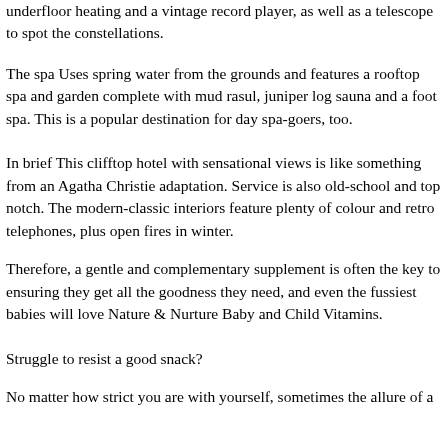underfloor heating and a vintage record player, as well as a telescope to spot the constellations.
The spa Uses spring water from the grounds and features a rooftop spa and garden complete with mud rasul, juniper log sauna and a foot spa. This is a popular destination for day spa-goers, too.
In brief This clifftop hotel with sensational views is like something from an Agatha Christie adaptation. Service is also old-school and top notch. The modern-classic interiors feature plenty of colour and retro telephones, plus open fires in winter.
Therefore, a gentle and complementary supplement is often the key to ensuring they get all the goodness they need, and even the fussiest babies will love Nature & Nurture Baby and Child Vitamins.
Struggle to resist a good snack?
No matter how strict you are with yourself, sometimes the allure of a